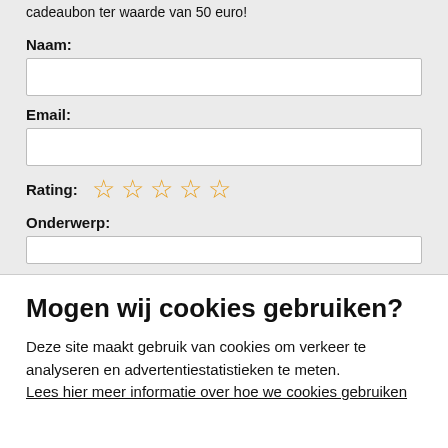cadeaubon ter waarde van 50 euro!
Naam:
Email:
Rating: ☆ ☆ ☆ ☆ ☆
Onderwerp:
Mogen wij cookies gebruiken?
Deze site maakt gebruik van cookies om verkeer te analyseren en advertentiestatistieken te meten. Lees hier meer informatie over hoe we cookies gebruiken